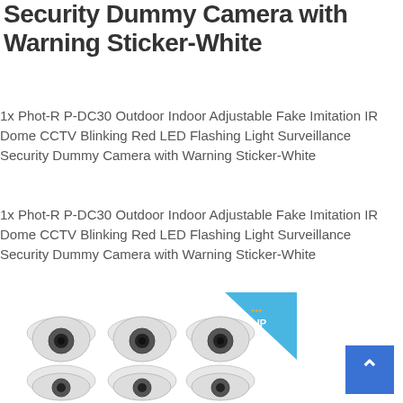Security Dummy Camera with Warning Sticker-White
1x Phot-R P-DC30 Outdoor Indoor Adjustable Fake Imitation IR Dome CCTV Blinking Red LED Flashing Light Surveillance Security Dummy Camera with Warning Sticker-White
1x Phot-R P-DC30 Outdoor Indoor Adjustable Fake Imitation IR Dome CCTV Blinking Red LED Flashing Light Surveillance Security Dummy Camera with Warning Sticker-White
[Figure (illustration): Product image showing six white dome security cameras arranged in 2 rows of 3, with a blue triangular badge marked 'IP' in the top right corner]